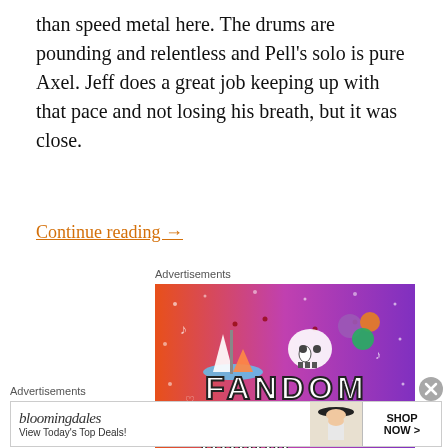than speed metal here. The drums are pounding and relentless and Pell's solo is pure Axel. Jeff does a great job keeping up with that pace and not losing his breath, but it was close.
Continue reading →
Advertisements
[Figure (illustration): Fandom on Tumblr advertisement banner with colorful gradient background (orange to purple) and illustrated icons including a sailboat, skull, dice, and the text 'FANDOM ON tumblr']
[Figure (other): Close button (X circle) for ad]
Advertisements
[Figure (illustration): Bloomingdales advertisement banner showing logo, 'View Today's Top Deals!' text, a woman with a hat, and a 'SHOP NOW >' button]